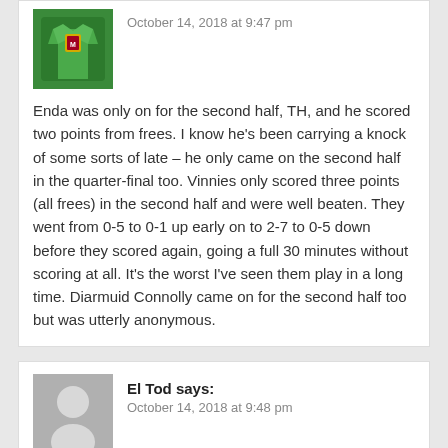October 14, 2018 at 9:47 pm
Enda was only on for the second half, TH, and he scored two points from frees. I know he's been carrying a knock of some sorts of late – he only came on the second half in the quarter-final too. Vinnies only scored three points (all frees) in the second half and were well beaten. They went from 0-5 to 0-1 up early on to 2-7 to 0-5 down before they scored again, going a full 30 minutes without scoring at all. It's the worst I've seen them play in a long time. Diarmuid Connolly came on for the second half too but was utterly anonymous.
El Tod says:
October 14, 2018 at 9:48 pm
Do Kiltimagh fans realise that Balla were missing 5 starters today all with county experience! Barry Duffy, Ger Holian, Colm Murphy, Patrick Mc Loughlin (captain minor a winners 2017) Conor Dunleavy